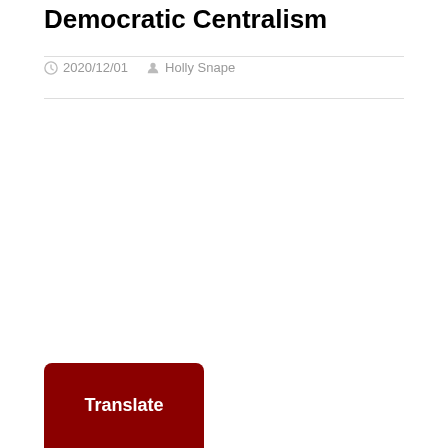Democratic Centralism
2020/12/01  Holly Snape
[Figure (other): Red rounded rectangle button with white bold text 'Translate']